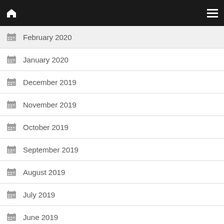Navigation bar with home and menu icons
February 2020
January 2020
December 2019
November 2019
October 2019
September 2019
August 2019
July 2019
June 2019
May 2019
April 2019
March 2019